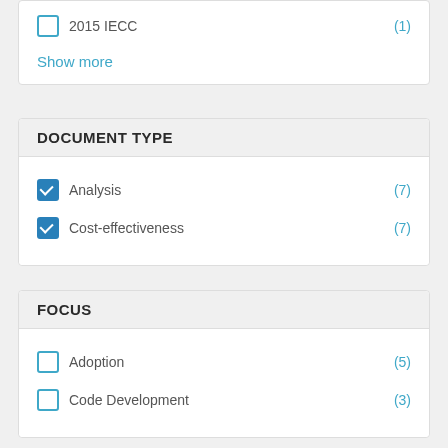2015 IECC (1)
Show more
DOCUMENT TYPE
Analysis (7)
Cost-effectiveness (7)
FOCUS
Adoption (5)
Code Development (3)